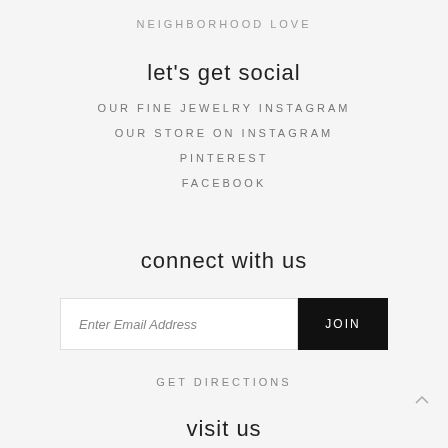NEIGHBORHOOD LOVE
let's get social
OUR FINE JEWELRY INSTAGRAM
OUR STORE ON INSTAGRAM
PINTEREST
FACEBOOK
connect with us
Enter Email Address
JOIN
GET DIRECTIONS
visit us